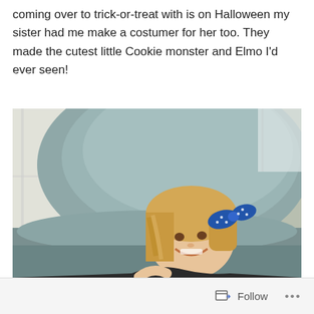coming over to trick-or-treat with is on Halloween my sister had me make a costumer for her too. They made the cutest little Cookie monster and Elmo I'd ever seen!
[Figure (photo): A young smiling toddler girl with blonde hair and a blue polka-dot bow, seated in front of a large gray-blue armchair near a bright window.]
Follow ...